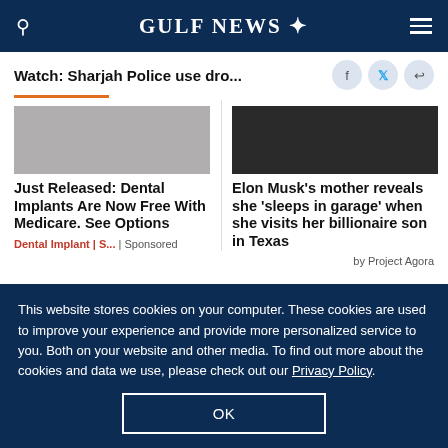GULF NEWS
Watch: Sharjah Police use dro...
Just Released: Dental Implants Are Now Free With Medicare. See Options
Dental Implant | S... | Sponsored
Elon Musk's mother reveals she 'sleeps in garage' when she visits her billionaire son in Texas
by Project Agora
This website stores cookies on your computer. These cookies are used to improve your experience and provide more personalized service to you. Both on your website and other media. To find out more about the cookies and data we use, please check out our Privacy Policy.
OK